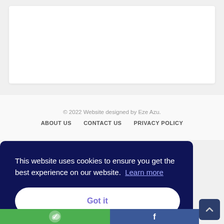[Figure (screenshot): White card/box area at top of page, representing a content region of the website]
© 2022 Website designed by Eze Azu.
ABOUT US
CONTACT US
PRIVACY POLICY
This website uses cookies to ensure you get the best experience on our website. Learn more
Got it